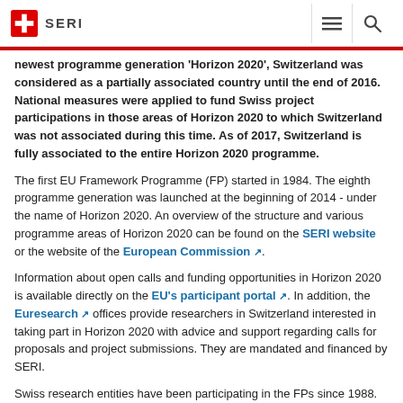SERI
newest programme generation 'Horizon 2020', Switzerland was considered as a partially associated country until the end of 2016. National measures were applied to fund Swiss project participations in those areas of Horizon 2020 to which Switzerland was not associated during this time. As of 2017, Switzerland is fully associated to the entire Horizon 2020 programme.
The first EU Framework Programme (FP) started in 1984. The eighth programme generation was launched at the beginning of 2014 - under the name of Horizon 2020. An overview of the structure and various programme areas of Horizon 2020 can be found on the SERI website or the website of the European Commission.
Information about open calls and funding opportunities in Horizon 2020 is available directly on the EU's participant portal. In addition, the Euresearch offices provide researchers in Switzerland interested in taking part in Horizon 2020 with advice and support regarding calls for proposals and project submissions. They are mandated and financed by SERI.
Swiss research entities have been participating in the FPs since 1988.